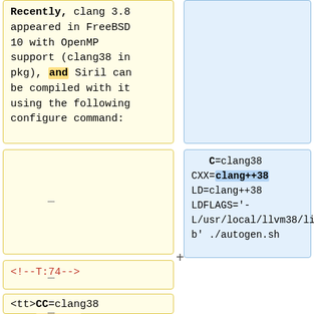Recently, clang 3.8 appeared in FreeBSD 10 with OpenMP support (clang38 in pkg), and Siril can be compiled with it using the following configure command:
<!--T:74-->
<tt>CC=clang38 CXX=clang38 LD=clang++38 LDFLAGS='-
C=clang38 CXX=clang++38 LD=clang++38 LDFLAGS='-L/usr/local/llvm38/lib' ./autogen.sh